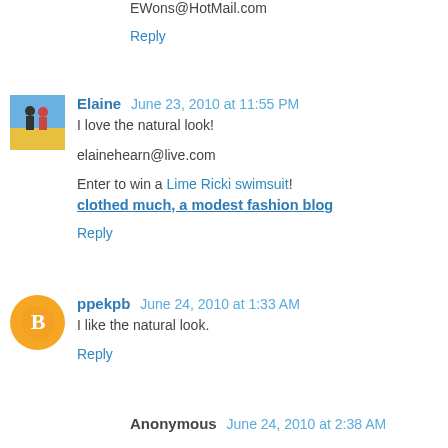EWons@HotMail.com
Reply
Elaine  June 23, 2010 at 11:55 PM
I love the natural look!
elainehearn@live.com
Enter to win a Lime Ricki swimsuit! clothed much, a modest fashion blog
Reply
ppekpb  June 24, 2010 at 1:33 AM
I like the natural look.
Reply
Anonymous  June 24, 2010 at 2:38 AM